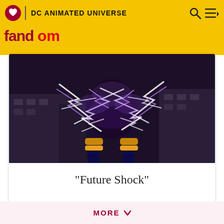DC ANIMATED UNIVERSE
[Figure (screenshot): Animated character with purple electricity/lightning effects surrounding their body, dark urban background]
"Future Shock"
AIRDATE: January 17th, 2004
PRODUCTION NUMBER: 40
MORE